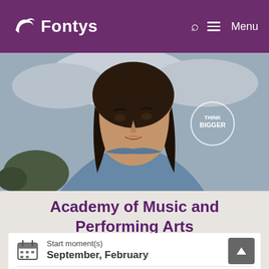Fontys
[Figure (photo): Young woman with dark hair looking upward, wearing a denim shirt, with cloudy sky and trees in background. Circle badge with text THINK BIGGER in upper right.]
Academy of Music and Performing Arts
Start moment(s)
September, February
Location